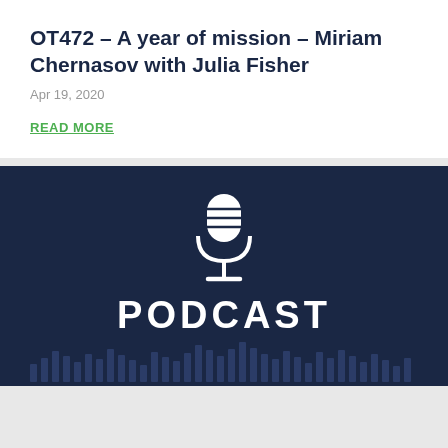OT472 – A year of mission – Miriam Chernasov with Julia Fisher
Apr 19, 2020
READ MORE
[Figure (illustration): Dark navy blue podcast promotional image with a white microphone icon in the center and the word PODCAST in large white letters below it. At the bottom is a stylized equalizer/sound bar graphic in slightly lighter navy blue.]